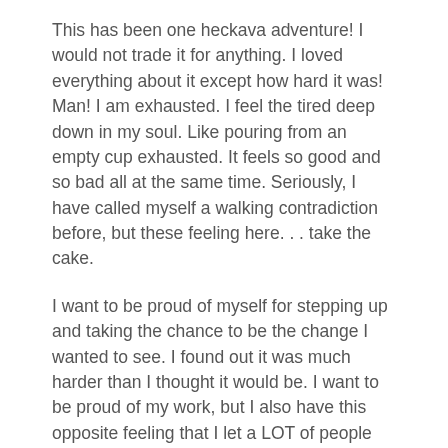This has been one heckava adventure! I would not trade it for anything. I loved everything about it except how hard it was! Man! I am exhausted. I feel the tired deep down in my soul. Like pouring from an empty cup exhausted. It feels so good and so bad all at the same time. Seriously, I have called myself a walking contradiction before, but these feeling here. . . take the cake.
I want to be proud of myself for stepping up and taking the chance to be the change I wanted to see. I found out it was much harder than I thought it would be. I want to be proud of my work, but I also have this opposite feeling that I let a LOT of people down. People who I have gotten to know and really enjoy.
This opportunity to see the greatness in my community has changed me to my core. I am beyond a doubt in awe of how Central Minnesotans truly care about each other and our